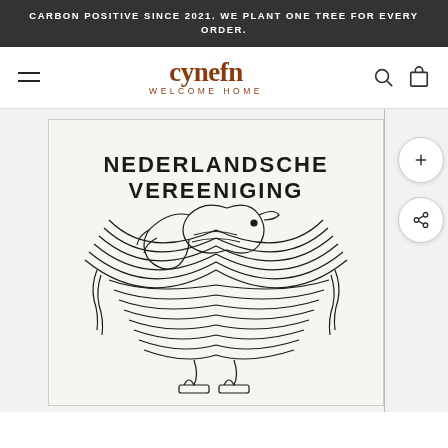CARBON POSITIVE SINCE 2021. WE PLANT ONE TREE FOR EVERY ORDER.
[Figure (logo): Cynefn Welcome Home brand logo in dark brown/rust serif font with 'WELCOME HOME' subtitle]
[Figure (photo): Product image showing a vintage Art Nouveau style poster with decorative lettering reading 'NEDERLANDSCHE VEREENIGING' and abstract bird/animal line art illustration in black on cream background]